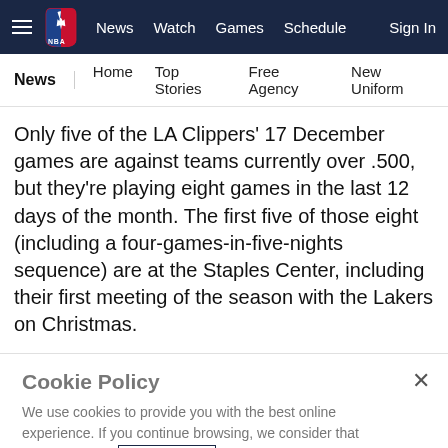NBA | News | Watch | Games | Schedule | Sign In
News | Home | Top Stories | Free Agency | New Uniform
Only five of the LA Clippers' 17 December games are against teams currently over .500, but they're playing eight games in the last 12 days of the month. The first five of those eight (including a four-games-in-five-nights sequence) are at the Staples Center, including their first meeting of the season with the Lakers on Christmas.
Cookie Policy
We use cookies to provide you with the best online experience. If you continue browsing, we consider that you accept our Cookie Policy and also agree to the terms of our Privacy Policy and Terms of Use.
I Accept